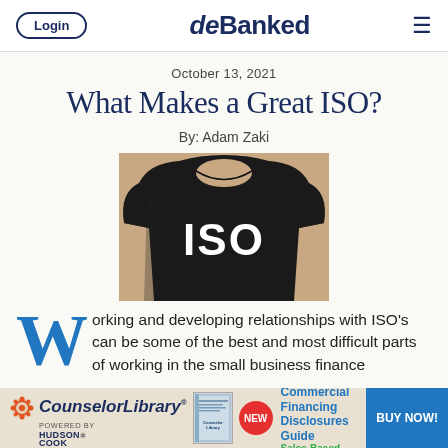Login | deBanked | ≡
October 13, 2021
What Makes a Great ISO?
By: Adam Zaki
[Figure (photo): Person wearing a black t-shirt with 'ISO' printed in large white letters on the front]
Working and developing relationships with ISO's can be some of the best and most difficult parts of working in the small business finance
[Figure (other): CounselorLibrary powered by Hudson Cook advertisement banner with California Commercial Financing Disclosures Guide - Sales-Based Financing, NEW badge, and BUY NOW button]